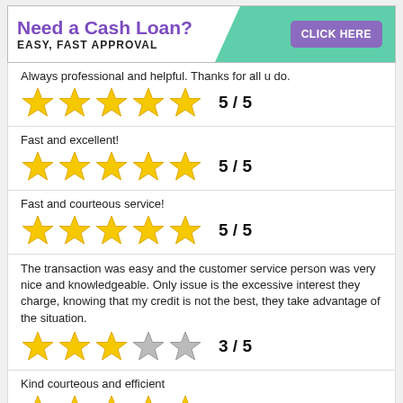[Figure (screenshot): Advertisement banner: Need a Cash Loan? EASY, FAST APPROVAL with CLICK HERE button]
Always professional and helpful. Thanks for all u do.
[Figure (other): 5 yellow stars rating: 5 / 5]
Fast and excellent!
[Figure (other): 5 yellow stars rating: 5 / 5]
Fast and courteous service!
[Figure (other): 5 yellow stars rating: 5 / 5]
The transaction was easy and the customer service person was very nice and knowledgeable. Only issue is the excessive interest they charge, knowing that my credit is not the best, they take advantage of the situation.
[Figure (other): 3 yellow stars and 2 grey stars rating: 3 / 5]
Kind courteous and efficient
[Figure (other): 5 yellow stars rating: 5 / 5]